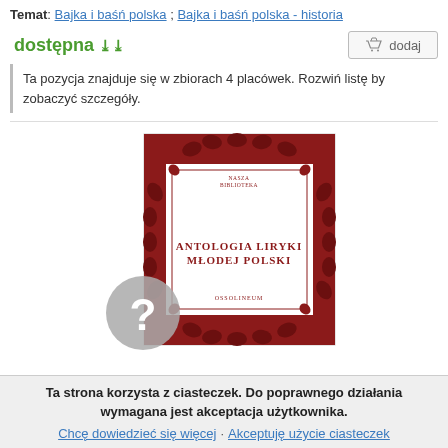Temat: Bajka i baśń polska ; Bajka i baśń polska - historia
dostępna ∨∨
dodaj
Ta pozycja znajduje się w zbiorach 4 placówek. Rozwiń listę by zobaczyć szczegóły.
[Figure (illustration): Book cover of 'Antologia Liryki Młodej Polski' with dark red floral/vine decorative border design, published by Ossolineum, series Nasza Biblioteka. A gray question mark badge overlaps the bottom-left corner of the cover.]
Ta strona korzysta z ciasteczek. Do poprawnego działania wymagana jest akceptacja użytkownika.
Chcę dowiedzieć się więcej · Akceptuję użycie ciasteczek